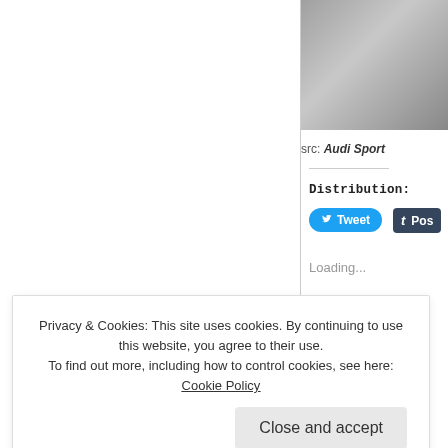[Figure (photo): Grayscale photo of what appears to be an Audi Sport related scene, cropped in upper right area]
src: Audi Sport
Distribution:
Tweet
t Pos
Loading...
Privacy & Cookies: This site uses cookies. By continuing to use this website, you agree to their use.
To find out more, including how to control cookies, see here: Cookie Policy
Close and accept